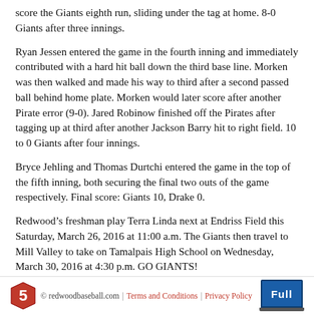score the Giants eighth run, sliding under the tag at home. 8-0 Giants after three innings.
Ryan Jessen entered the game in the fourth inning and immediately contributed with a hard hit ball down the third base line. Morken was then walked and made his way to third after a second passed ball behind home plate. Morken would later score after another Pirate error (9-0). Jared Robinow finished off the Pirates after tagging up at third after another Jackson Barry hit to right field. 10 to 0 Giants after four innings.
Bryce Jehling and Thomas Durtchi entered the game in the top of the fifth inning, both securing the final two outs of the game respectively. Final score: Giants 10, Drake 0.
Redwood’s freshman play Terra Linda next at Endriss Field this Saturday, March 26, 2016 at 11:00 a.m. The Giants then travel to Mill Valley to take on Tamalpais High School on Wednesday, March 30, 2016 at 4:30 p.m. GO GIANTS!
© redwoodbaseball.com | Terms and Conditions | Privacy Policy